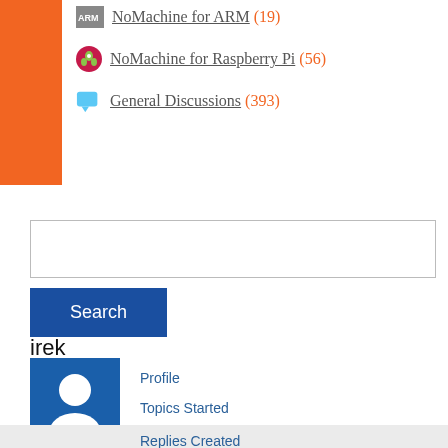NoMachine for ARM (19)
NoMachine for Raspberry Pi (56)
General Discussions (393)
Search
irek
[Figure (illustration): User avatar icon - blue square with white silhouette of a person]
Profile
Topics Started
Replies Created